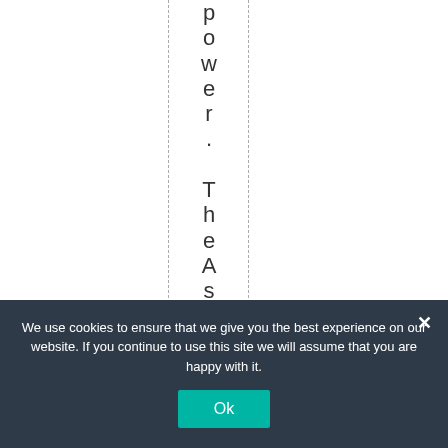power. The Asian gove
We use cookies to ensure that we give you the best experience on our website. If you continue to use this site we will assume that you are happy with it.